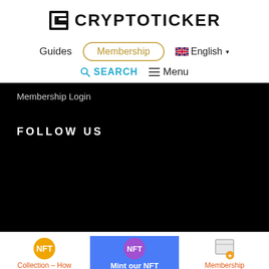[Figure (logo): CryptoTicker logo with block C icon and bold text CRYPTOTICKER]
Guides | Membership | English
SEARCH | Menu
Membership Login
FOLLOW US
[Figure (infographic): Bottom bar with three items: NFT Collection – How to participate?, Mint our NFT Now (blue background), Membership]
Collection – How to participate?
Mint our NFT Now
Membership